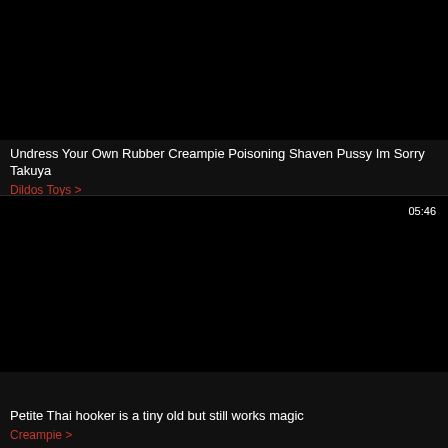[Figure (screenshot): Black thumbnail image for first video card]
Undress Your Own Rubber Creampie Poisoning Shaven Pussy Im Sorry Takuya
Dildos Toys >
[Figure (screenshot): Black thumbnail image for second video card with duration 05:46]
05:46
Petite Thai hooker is a tiny old but still works magic
Creampie >